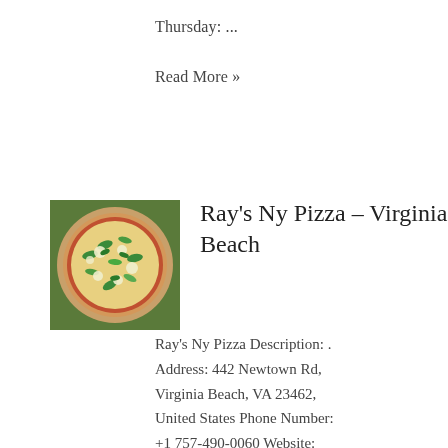Thursday: ...
Read More »
[Figure (photo): Photo of a pizza with green toppings (basil/arugula) and white cheese on a round crust, seen from above in a restaurant setting.]
Ray's Ny Pizza – Virginia Beach
Ray's Ny Pizza Description: . Address: 442 Newtown Rd, Virginia Beach, VA 23462, United States Phone Number: +1 757-490-0060 Website: Home Store Hours: Sunday: